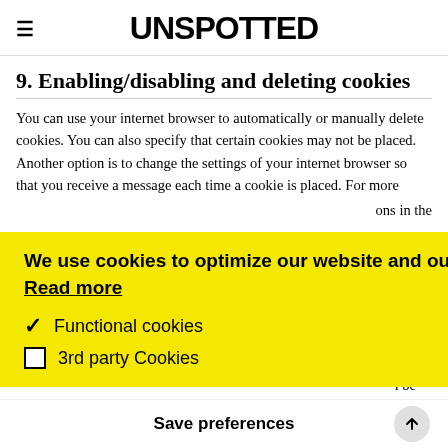UNSPOTTED
9. Enabling/disabling and deleting cookies
You can use your internet browser to automatically or manually delete cookies. You can also specify that certain cookies may not be placed. Another option is to change the settings of your internet browser so that you receive a message each time a cookie is placed. For more
We use cookies to optimize our website and our service. Read more
✓ Functional cookies
□ 3rd party Cookies
Save preferences